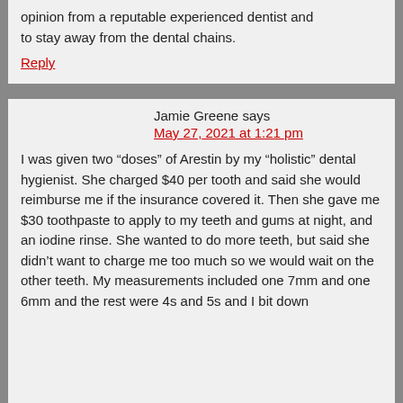opinion from a reputable experienced dentist and to stay away from the dental chains.
Reply
Jamie Greene says
May 27, 2021 at 1:21 pm
I was given two “doses” of Arestin by my “holistic” dental hygienist. She charged $40 per tooth and said she would reimburse me if the insurance covered it. Then she gave me $30 toothpaste to apply to my teeth and gums at night, and an iodine rinse. She wanted to do more teeth, but said she didn’t want to charge me too much so we would wait on the other teeth. My measurements included one 7mm and one 6mm and the rest were 4s and 5s and I bit down